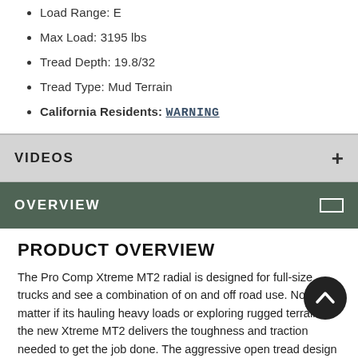Load Range: E
Max Load: 3195 lbs
Tread Depth: 19.8/32
Tread Type: Mud Terrain
California Residents: WARNING
VIDEOS
OVERVIEW
PRODUCT OVERVIEW
The Pro Comp Xtreme MT2 radial is designed for full-size trucks and see a combination of on and off road use. No matter if its hauling heavy loads or exploring rugged terrain, the new Xtreme MT2 delivers the toughness and traction needed to get the job done. The aggressive open tread design was optimized using computer modeling to deliver unsurpassed grip and control without excessive noise. It also delivers improved self-cleaning performance